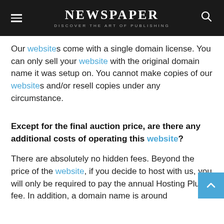NEWSPAPER — DISCOVER THE ART OF PUBLISHING
Our websites come with a single domain license. You can only sell your website with the original domain name it was setup on. You cannot make copies of our websites and/or resell copies under any circumstance.
Except for the final auction price, are there any additional costs of operating this website?
There are absolutely no hidden fees. Beyond the price of the website, if you decide to host with us, you will only be required to pay the annual Hosting Plus fee. In addition, a domain name is around